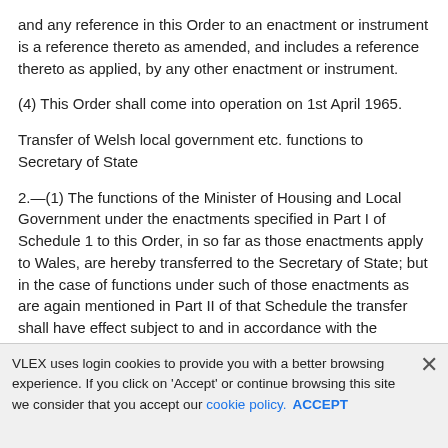and any reference in this Order to an enactment or instrument is a reference thereto as amended, and includes a reference thereto as applied, by any other enactment or instrument.
(4) This Order shall come into operation on 1st April 1965.
Transfer of Welsh local government etc. functions to Secretary of State
2.—(1) The functions of the Minister of Housing and Local Government under the enactments specified in Part I of Schedule 1 to this Order, in so far as those enactments apply to Wales, are hereby transferred to the Secretary of State; but in the case of functions under such of those enactments as are again mentioned in Part II of that Schedule the transfer shall have effect subject to and in accordance with the provisions of the said Part II.
VLEX uses login cookies to provide you with a better browsing experience. If you click on 'Accept' or continue browsing this site we consider that you accept our cookie policy. ACCEPT